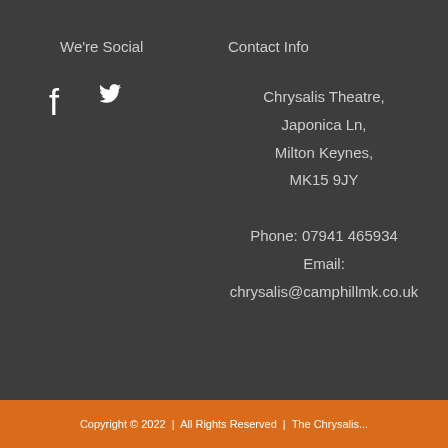We're Social
[Figure (illustration): Facebook and Twitter social media icons (white) side by side]
Contact Info
Chrysalis Theatre,
Japonica Ln,
Milton Keynes,
MK15 9JY
Phone: 07941 465934
Email:
chrysalis@camphillmk.co.uk
Copyright © 2022  |  All Rights Reserved  |  The Chrysalis...